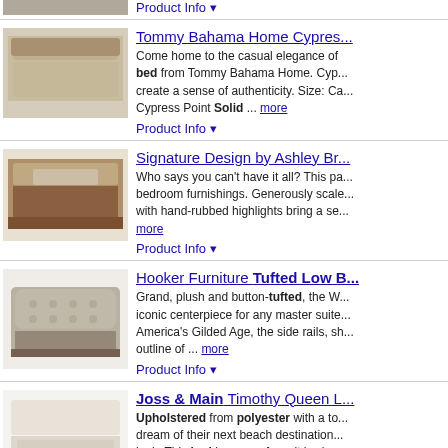[Figure (photo): Partial product image of a bed at top of page]
Product Info ▼
Tommy Bahama Home Cypress...
[Figure (photo): Tommy Bahama Home Cypress Point bed product image]
Come home to the casual elegance of bed from Tommy Bahama Home. Cyp... create a sense of authenticity. Size: Ca... Cypress Point Solid ... more
Product Info ▼
Signature Design by Ashley Br...
[Figure (photo): Signature Design by Ashley bedroom bed product image]
Who says you can't have it all? This pa... bedroom furnishings. Generously scale... with hand-rubbed highlights bring a se... more
Product Info ▼
Hooker Furniture Tufted Low B...
[Figure (photo): Hooker Furniture Tufted Low bed product image]
Grand, plush and button-tufted, the W... iconic centerpiece for any master suite... America's Gilded Age, the side rails, sh... outline of ... more
Product Info ▼
Joss & Main Timothy Queen L...
[Figure (photo): Joss & Main Timothy Queen bed product image]
Upholstered from polyester with a to... dream of their next beach destination... look. This bed is as comfy as it is class... more